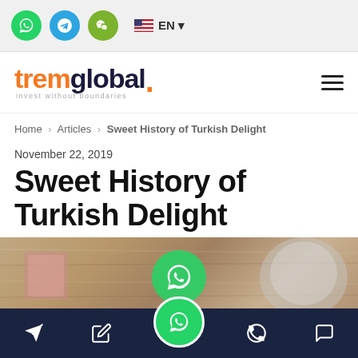Social icons: WhatsApp, Telegram, WeChat | EN language selector
[Figure (logo): tremglobal. logo with tagline 'invest without boundaries' and hamburger menu icon]
Home > Articles > Sweet History of Turkish Delight
November 22, 2019
Sweet History of Turkish Delight
[Figure (photo): Photo of Turkish Delight sweets on a wooden surface with a silver teapot, overlaid with WhatsApp icon]
Bottom navigation bar with Telegram, notes, WhatsApp, phone and chat icons